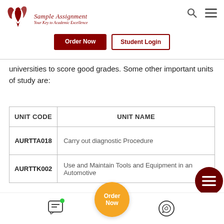Sample Assignment — Your Key to Academic Excellence
universities to score good grades. Some other important units of study are:
| UNIT CODE | UNIT NAME |
| --- | --- |
| AURTTA018 | Carry out diagnostic Procedure |
| AURTTK002 | Use and Maintain Tools and Equipment in an Automotive |
Order Now | Need Help? | WhatsApp